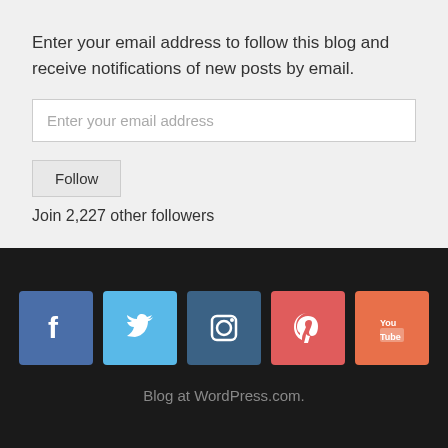Enter your email address to follow this blog and receive notifications of new posts by email.
Enter your email address
Follow
Join 2,227 other followers
[Figure (infographic): Five social media icon buttons: Facebook (blue), Twitter (light blue), Instagram (dark blue), Pinterest (red), YouTube (orange-red)]
Blog at WordPress.com.